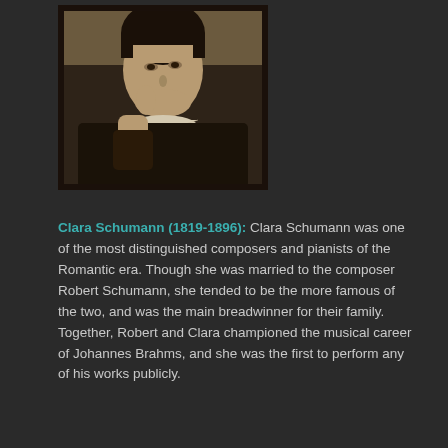[Figure (photo): A sepia-toned portrait photograph of Clara Schumann, a woman in 19th century dress with a lace collar, resting her chin on her hand in a thoughtful pose.]
Clara Schumann (1819-1896): Clara Schumann was one of the most distinguished composers and pianists of the Romantic era. Though she was married to the composer Robert Schumann, she tended to be the more famous of the two, and was the main breadwinner for their family. Together, Robert and Clara championed the musical career of Johannes Brahms, and she was the first to perform any of his works publicly.